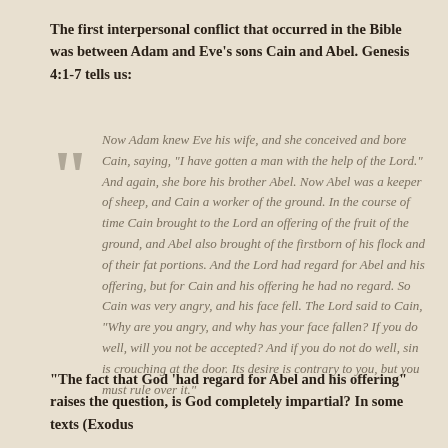The first interpersonal conflict that occurred in the Bible was between Adam and Eve's sons Cain and Abel. Genesis 4:1-7 tells us:
Now Adam knew Eve his wife, and she conceived and bore Cain, saying, "I have gotten a man with the help of the Lord." And again, she bore his brother Abel. Now Abel was a keeper of sheep, and Cain a worker of the ground. In the course of time Cain brought to the Lord an offering of the fruit of the ground, and Abel also brought of the firstborn of his flock and of their fat portions. And the Lord had regard for Abel and his offering, but for Cain and his offering he had no regard. So Cain was very angry, and his face fell. The Lord said to Cain, "Why are you angry, and why has your face fallen? If you do well, will you not be accepted? And if you do not do well, sin is crouching at the door. Its desire is contrary to you, but you must rule over it."
“The fact that God ‘had regard for Abel and his offering” raises the question, is God completely impartial? In some texts (Exodus